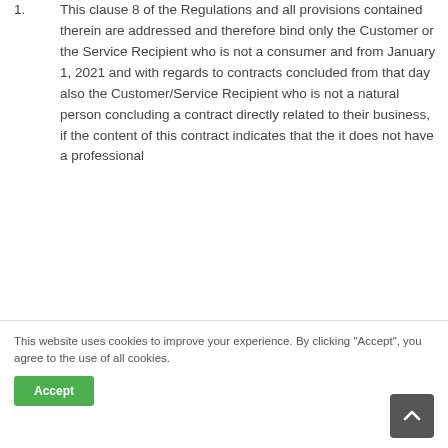1. This clause 8 of the Regulations and all provisions contained therein are addressed and therefore bind only the Customer or the Service Recipient who is not a consumer and from January 1, 2021 and with regards to contracts concluded from that day also the Customer/Service Recipient who is not a natural person concluding a contract directly related to their business, if the content of this contract indicates that the it does not have a professional...
This website uses cookies to improve your experience. By clicking "Accept", you agree to the use of all cookies.